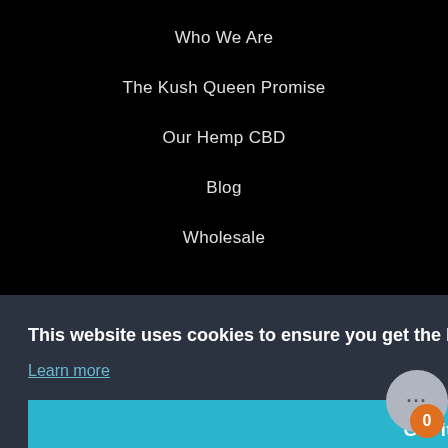Who We Are
The Kush Queen Promise
Our Hemp CBD
Blog
Wholesale
This website uses cookies to ensure you get the best experience on our website.
Learn more
Got it